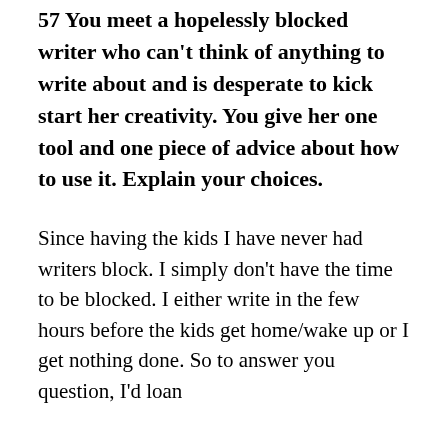57 You meet a hopelessly blocked writer who can't think of anything to write about and is desperate to kick start her creativity. You give her one tool and one piece of advice about how to use it. Explain your choices.
Since having the kids I have never had writers block. I simply don't have the time to be blocked. I either write in the few hours before the kids get home/wake up or I get nothing done. So to answer you question, I'd loan